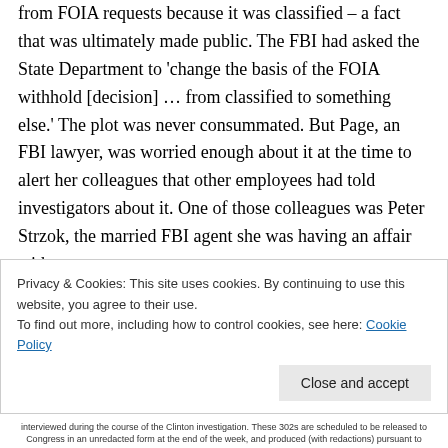from FOIA requests because it was classified – a fact that was ultimately made public. The FBI had asked the State Department to 'change the basis of the FOIA withhold [decision] … from classified to something else.' The plot was never consummated. But Page, an FBI lawyer, was worried enough about it at the time to alert her colleagues that other employees had told investigators about it. One of those colleagues was Peter Strzok, the married FBI agent she was having an affair with.
Privacy & Cookies: This site uses cookies. By continuing to use this website, you agree to their use.
To find out more, including how to control cookies, see here: Cookie Policy
interviewed during the course of the Clinton investigation. These 302s are scheduled to be released to Congress in an unredacted form at the end of the week, and produced (with redactions) pursuant to